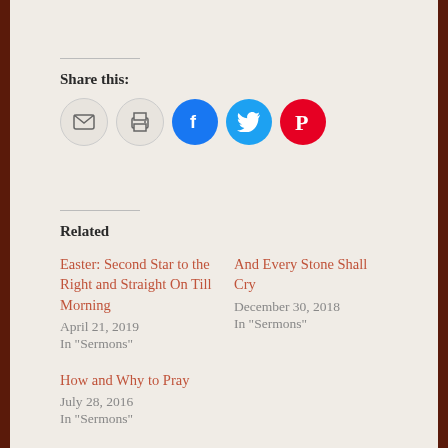Share this:
[Figure (infographic): Row of social sharing icons: email (grey circle), print (grey circle), Facebook (blue circle with f), Twitter (light blue circle with bird), Pinterest (red circle with P)]
Related
Easter: Second Star to the Right and Straight On Till Morning
April 21, 2019
In "Sermons"
And Every Stone Shall Cry
December 30, 2018
In "Sermons"
How and Why to Pray
July 28, 2016
In "Sermons"